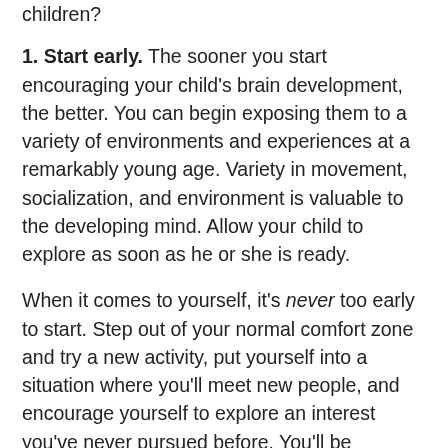children?
1. Start early. The sooner you start encouraging your child's brain development, the better. You can begin exposing them to a variety of environments and experiences at a remarkably young age. Variety in movement, socialization, and environment is valuable to the developing mind. Allow your child to explore as soon as he or she is ready.
When it comes to yourself, it's never too early to start. Step out of your normal comfort zone and try a new activity, put yourself into a situation where you'll meet new people, and encourage yourself to explore an interest you've never pursued before. You'll be amazed how the experience of learning makes you feel alive!
2. Allow experience and excellence. Your child...